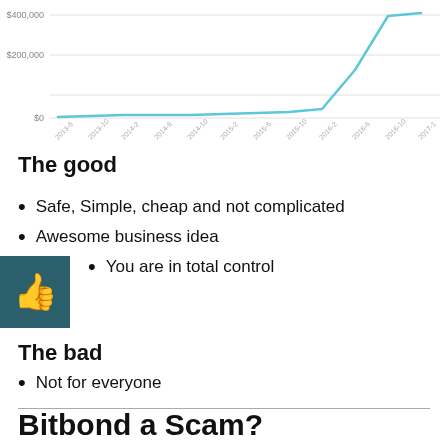[Figure (line-chart): Bitcoin price over time]
The good
Safe, Simple, cheap and not complicated
Awesome business idea
You are in total control
The bad
Not for everyone
Bitbond a Scam?
So is Bitbond a scam? Absolutely not, this is...